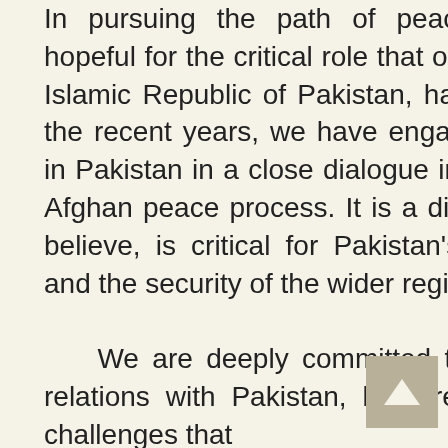In pursuing the path of peace, we remain hopeful for the critical role that our neighbor, the Islamic Republic of Pakistan, has to play. Over the recent years, we have engaged our friends in Pakistan in a close dialogue in support of the Afghan peace process. It is a dialogue that, we believe, is critical for Pakistan's own security, and the security of the wider region and beyond.

    We are deeply committed to our brotherly relations with Pakistan, but are aware of the challenges that may strain our efforts at building...